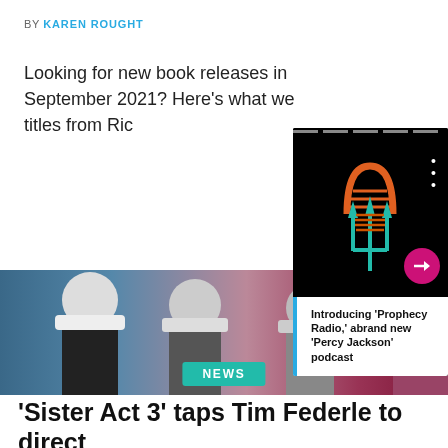BY KAREN ROUGHT
Looking for new book releases in September 2021? Here's we titles from Ric
[Figure (screenshot): Podcast card overlay showing 'Prophecy Radio' Percy Jackson podcast logo — a trident microphone icon in orange and teal on black background, with arrow button and white caption box reading: Introducing 'Prophecy Radio,' a brand new 'Percy Jackson' podcast]
Introducing 'Prophecy Radio,' abrand new 'Percy Jackson' podcast
[Figure (photo): Photo of nuns in black and white habits from Sister Act film with teal/pink background tones]
NEWS
'Sister Act 3' taps Tim Federle to direct